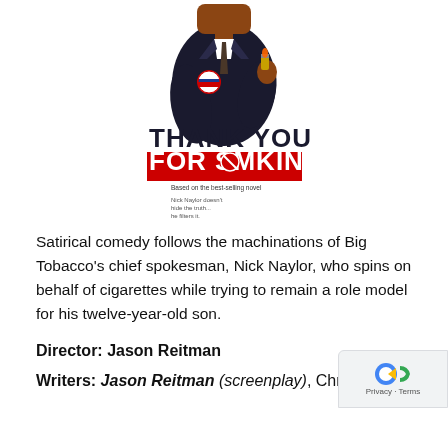[Figure (illustration): Movie poster for 'Thank You for Smoking'. Shows a man in a dark suit holding a lighter pointing toward the viewer, with a campaign-style button on his lapel. Bold text reads 'THANK YOU FOR SMOKING' with a red banner and subtitle text.]
Satirical comedy follows the machinations of Big Tobacco's chief spokesman, Nick Naylor, who spins on behalf of cigarettes while trying to remain a role model for his twelve-year-old son.
Director: Jason Reitman
Writers: Jason Reitman (screenplay), Christopher